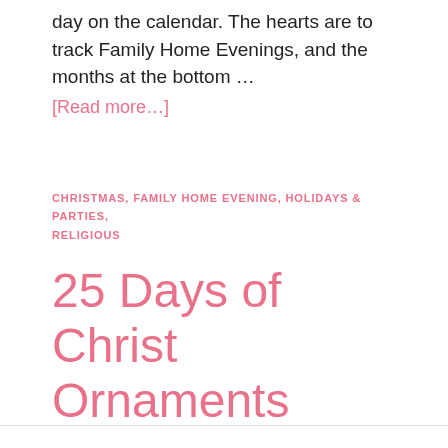day on the calendar. The hearts are to track Family Home Evenings, and the months at the bottom …
[Read more…]
CHRISTMAS, FAMILY HOME EVENING, HOLIDAYS & PARTIES, RELIGIOUS
25 Days of Christ Ornaments
by Nikkala · on November 3, 2014 · 2 Comments ·